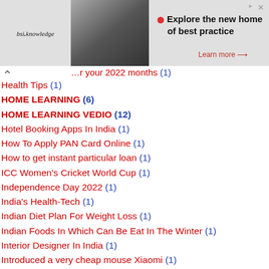[Figure (screenshot): BSI Knowledge advertisement banner with man using laptop, text 'Explore the new home of best practice', Learn more link]
...r your 2022 months (1)
Health Tips (1)
HOME LEARNING (6)
HOME LEARNING VEDIO (12)
Hotel Booking Apps In India (1)
How To Apply PAN Card Online (1)
How to get instant particular loan (1)
ICC Women's Cricket World Cup (1)
Independence Day 2022 (1)
India's Health-Tech (1)
Indian Diet Plan For Weight Loss (1)
Indian Foods In Which Can Be Eat In The Winter (1)
Interior Designer In India (1)
Introduced a very cheap mouse Xiaomi (1)
IPL 2022 Schedules (1)
ISRO (1)
Job Whatsapp Group Link (1)